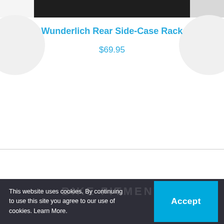[Figure (photo): Partial view of a motorcycle rack product image against dark background, cropped at top]
Wunderlich Rear Side-Case Rack
$69.95
This website uses cookies. By continuing to use this site you agree to our use of cookies. Learn More.
Accept